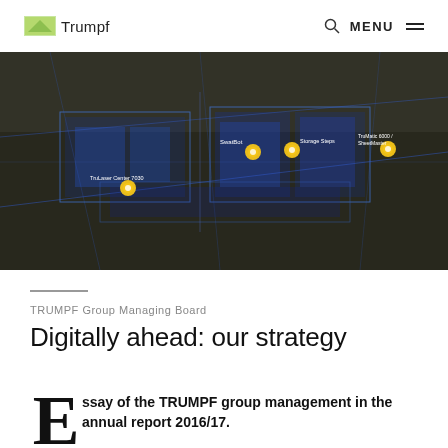Trumpf | MENU
[Figure (photo): Overhead view of a factory floor with a blue-tinted digital overlay / holographic visualization showing manufacturing equipment with yellow circular markers labeled: SwatBot, Storage Steps, TruMatic 6000, SheetMaster, TruLaser Center 7030]
TRUMPF Group Managing Board
Digitally ahead: our strategy
Essay of the TRUMPF group management in the annual report 2016/17.